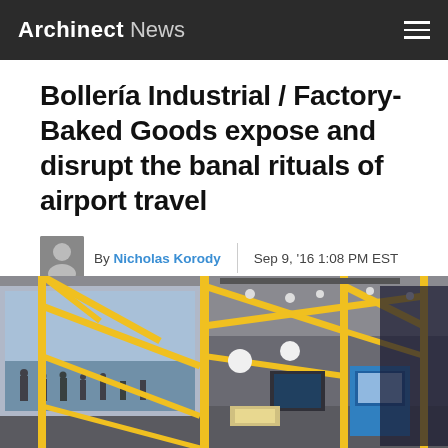Archinect News
Bollería Industrial / Factory-Baked Goods expose and disrupt the banal rituals of airport travel
By Nicholas Korody  Sep 9, '16 1:08 PM EST
0   Follow
[Figure (photo): Interior of an art installation at an airport terminal. Yellow geometric structural tubes form an angular scaffold structure above and around a display area. A large screen/monitor showing an airport scene is visible in the background. The space includes a blue kiosk, white spherical lamps, and digital displays. People are visible in the background airport concourse.]